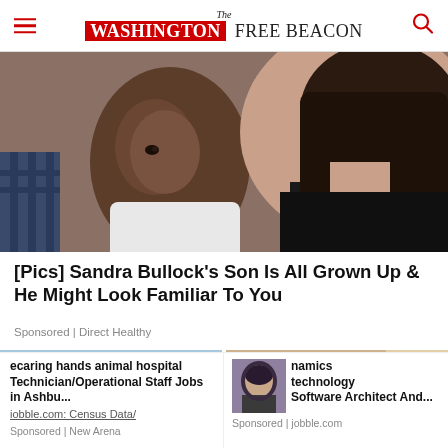The Washington Free Beacon
[Figure (photo): Close-up photo of a young Black child being held by a woman with long dark hair wearing a black top]
[Pics] Sandra Bullock's Son Is All Grown Up & He Might Look Familiar To You
Sponsored | Direct Healthy
[Figure (photo): Photo of abandoned rundown houses on a street in winter with bare trees and a utility pole]
[Figure (photo): Photo of two people wearing headphones working at desks with laptops in a bright office]
ecaring hands animal hospital Technician/Operational Staff Jobs in Ashbu... iobble.com: Census Data/
Sponsored | New Arena
namics technology Software Architect And...
Sponsored | jobble.com